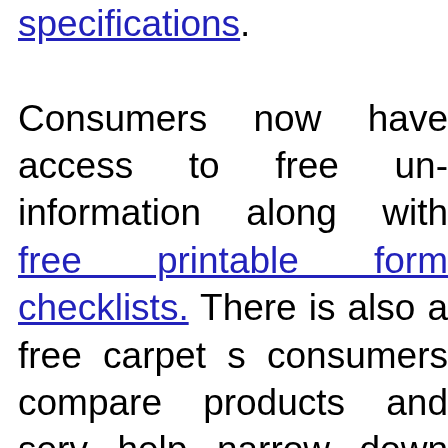specifications. Consumers now have access to free un information along with free printable form checklists. There is also a free carpet s consumers compare products and serv help narrow down the best final choices. Homeowners can also take a quick car help determine what grade of carpet w goals and lifestyle. Knowing how to choo Carpet is just one aspect of the carpet buy